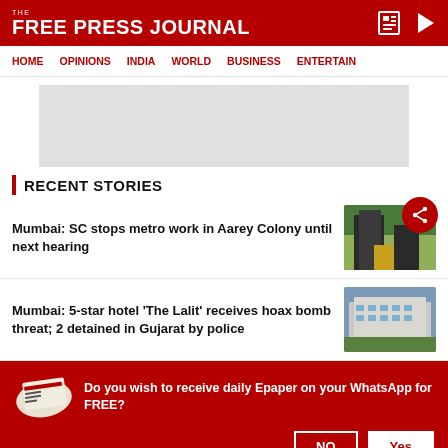THE FREE PRESS JOURNAL
HOME  OPINIONS  INDIA  WORLD  BUSINESS  ENTERTAIN
[Figure (other): Advertisement placeholder banner]
RECENT STORIES
Mumbai: SC stops metro work in Aarey Colony until next hearing
Mumbai: 5-star hotel 'The Lalit' receives hoax bomb threat; 2 detained in Gujarat by police
Do you wish to receive daily Epaper on your WhatsApp for FREE?